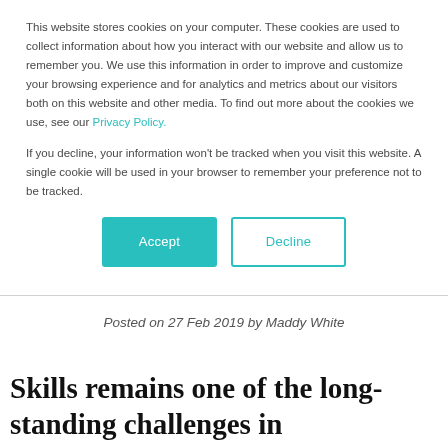This website stores cookies on your computer. These cookies are used to collect information about how you interact with our website and allow us to remember you. We use this information in order to improve and customize your browsing experience and for analytics and metrics about our visitors both on this website and other media. To find out more about the cookies we use, see our Privacy Policy.
If you decline, your information won’t be tracked when you visit this website. A single cookie will be used in your browser to remember your preference not to be tracked.
[Figure (other): Cookie consent buttons: Accept (teal filled) and Decline (teal outlined)]
Posted on 27 Feb 2019 by Maddy White
Skills remains one of the long-standing challenges in manufacturing; why does the